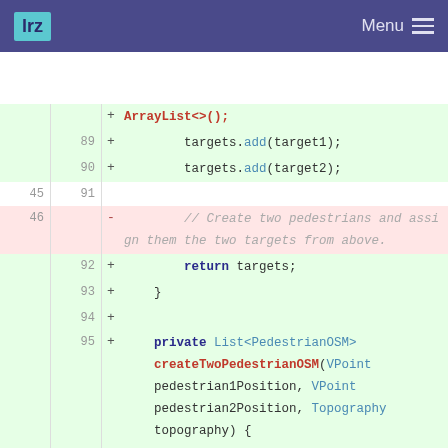lrz  Menu
[Figure (screenshot): Code diff view showing Java source code with line numbers, added (green) and removed (red) lines. Shows ArrayList, targets.add, return targets, closing brace, and a private method createTwoPedestrianOSM with parameters VPoint pedestrian1Position, VPoint pedestrian2Position, Topography topography, and AttributesAgent and AttributesOSM variable declarations.]